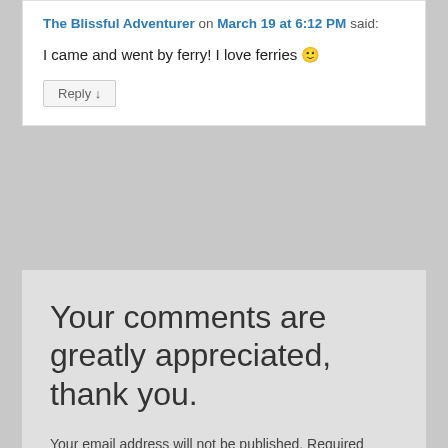The Blissful Adventurer on March 19 at 6:12 PM said:
I came and went by ferry! I love ferries 🙂
Reply ↓
Your comments are greatly appreciated, thank you.
Your email address will not be published. Required fields are marked *
Comment *